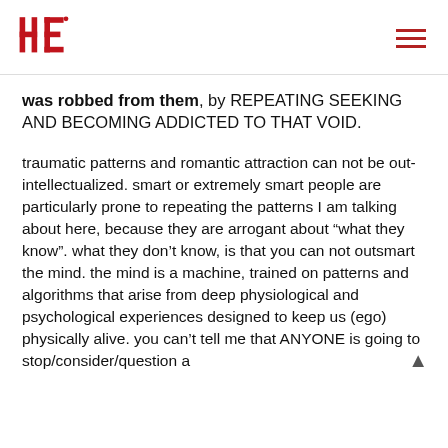HE [logo] / hamburger menu
was robbed from them, by REPEATING SEEKING AND BECOMING ADDICTED TO THAT VOID.
traumatic patterns and romantic attraction can not be out-intellectualized. smart or extremely smart people are particularly prone to repeating the patterns I am talking about here, because they are arrogant about “what they know". what they don’t know, is that you can not outsmart the mind. the mind is a machine, trained on patterns and algorithms that arise from deep physiological and psychological experiences designed to keep us (ego) physically alive. you can’t tell me that ANYONE is going to stop/consider/question a